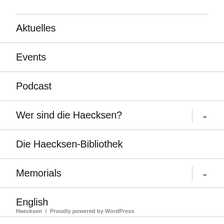Aktuelles
Events
Podcast
Wer sind die Haecksen?
Die Haecksen-Bibliothek
Memorials
English
Haecksen / Proudly powered by WordPress